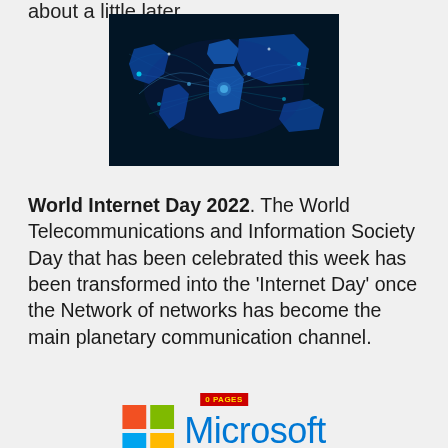about a little later.
[Figure (photo): Glowing blue world map with network connection lines on dark background, representing global internet connectivity.]
World Internet Day 2022. The World Telecommunications and Information Society Day that has been celebrated this week has been transformed into the 'Internet Day' once the Network of networks has become the main planetary communication channel.
[Figure (logo): Small red badge with yellow text reading '0 PAGES']
[Figure (logo): Microsoft logo with four-color Windows flag icon and the word 'Microsoft' in blue text]